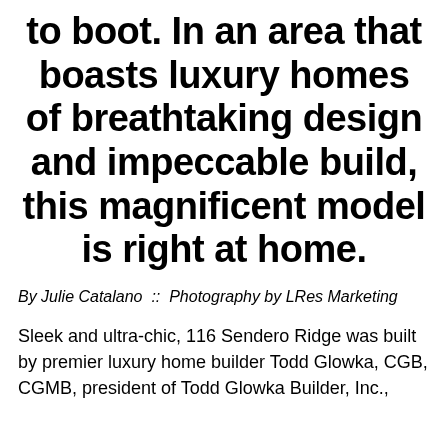to boot. In an area that boasts luxury homes of breathtaking design and impeccable build, this magnificent model is right at home.
By Julie Catalano  ::  Photography by LRes Marketing
Sleek and ultra-chic, 116 Sendero Ridge was built by premier luxury home builder Todd Glowka, CGB, CGMB, president of Todd Glowka Builder, Inc., in Kendalia. With a heritage of creating...